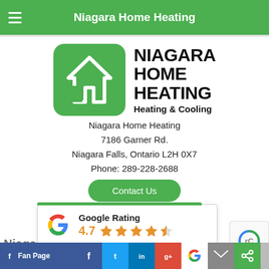Niagara Home Heating
[Figure (logo): Niagara Home Heating logo — green rounded square with white house outline icon, beside bold black text 'NIAGARA HOME HEATING Heating & Cooling']
Niagara Home Heating
7186 Garner Rd.
Niagara Falls, Ontario L2H 0X7
Phone: 289-228-2688
Contact Us
[Figure (infographic): Google Rating card showing 4.7 stars (4 full stars and 1 half star) with Google G logo]
Fan Page  [Facebook] [Twitter] [LinkedIn] [Google+] [Google] [Mail] [Share] [Arrow]